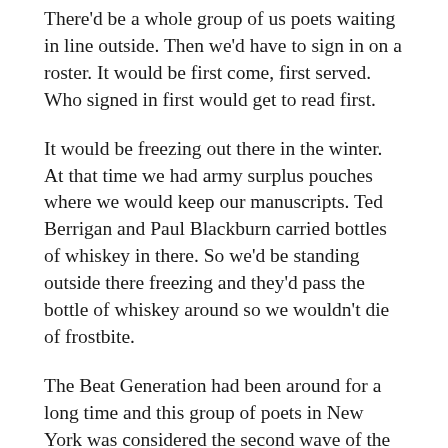There'd be a whole group of us poets waiting in line outside. Then we'd have to sign in on a roster. It would be first come, first served. Who signed in first would get to read first.
It would be freezing out there in the winter. At that time we had army surplus pouches where we would keep our manuscripts. Ted Berrigan and Paul Blackburn carried bottles of whiskey in there. So we'd be standing outside there freezing and they'd pass the bottle of whiskey around so we wouldn't die of frostbite.
The Beat Generation had been around for a long time and this group of poets in New York was considered the second wave of the Beat Generation. I think we all thought of ourselves as part of a resistance against the establishment, the status quo. We were the resistance to John Q Average American.
The ones that I remember most vividly and associated with as friends were Paul Blackburn, Tuli Kupferberg, Ed Sanders and Ted Berrigan. Allen Ginsberg would read there. Jack Kerouac